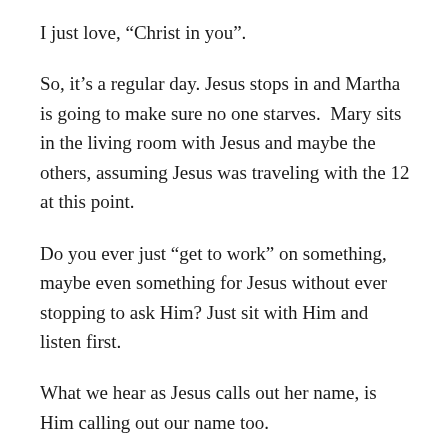I just love, “Christ in you”.
So, it’s a regular day. Jesus stops in and Martha is going to make sure no one starves.  Mary sits in the living room with Jesus and maybe the others, assuming Jesus was traveling with the 12 at this point.
Do you ever just “get to work” on something, maybe even something for Jesus without ever stopping to ask Him? Just sit with Him and listen first.
What we hear as Jesus calls out her name, is Him calling out our name too.
“Oh, [insert name], [insert name].”